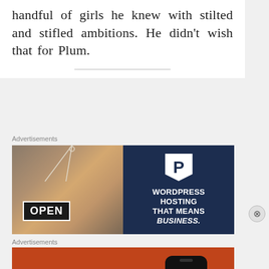handful of girls he knew with stilted and stifled ambitions. He didn’t wish that for Plum.
Advertisements
[Figure (illustration): WordPress hosting advertisement banner. Left side shows a woman smiling and holding an OPEN sign at a store. Right side has a navy blue background with a white WordPress-style P logo and text: WORDPRESS HOSTING THAT MEANS BUSINESS.]
Advertisements
[Figure (illustration): DuckDuckGo advertisement. Orange/red background with white text: Search, browse, and email with more privacy. All in One Free App. Right side shows a smartphone with the DuckDuckGo logo and branding.]